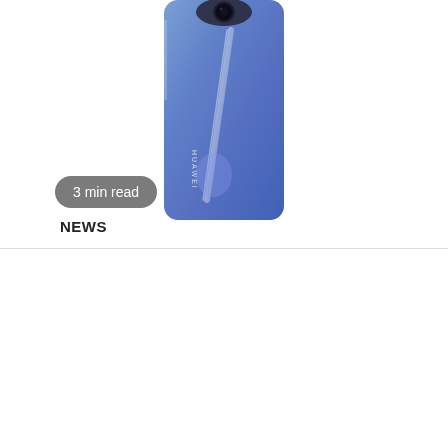[Figure (photo): Huawei smartphone (blue color) showing rear camera module and back panel with HUAWEI branding, partially cropped at top]
3 min read
NEWS
We use cookies on our website to give you the most relevant experience by remembering your preferences and repeat visits. By clicking "Accept All", you consent to the use of ALL the cookies. However, you may visit "Cookie Settings" to provide a controlled consent.
Cookie Settings | Accept All